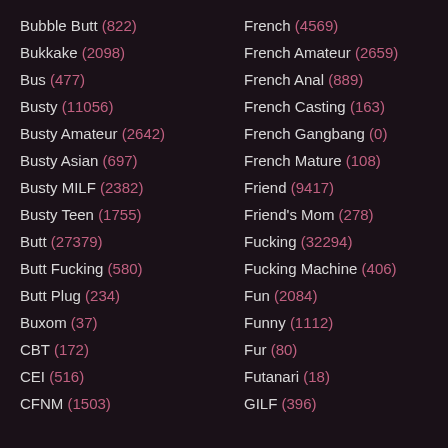Bubble Butt (822)
Bukkake (2098)
Bus (477)
Busty (11056)
Busty Amateur (2642)
Busty Asian (697)
Busty MILF (2382)
Busty Teen (1755)
Butt (27379)
Butt Fucking (580)
Butt Plug (234)
Buxom (37)
CBT (172)
CEI (516)
CFNM (1503)
French (4569)
French Amateur (2659)
French Anal (889)
French Casting (163)
French Gangbang (0)
French Mature (108)
Friend (9417)
Friend's Mom (278)
Fucking (32294)
Fucking Machine (406)
Fun (2084)
Funny (1112)
Fur (80)
Futanari (18)
GILF (396)